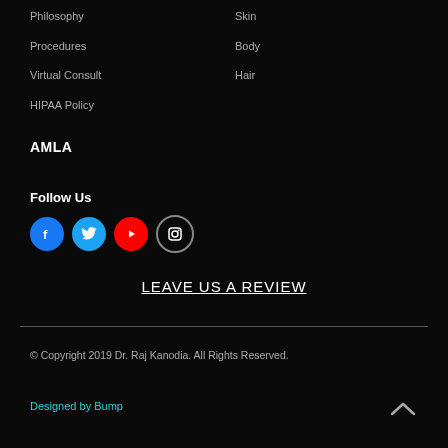Philosophy
Skin
Procedures
Body
Virtual Consult
Hair
HIPAA Policy
AMLA
Follow Us
[Figure (infographic): Social media icon buttons: Facebook (blue circle), Twitter (blue circle), YouTube (red circle), Instagram (dark circle with outline)]
LEAVE US A REVIEW
© Copyright 2019 Dr. Raj Kanodia. All Rights Reserved.
Designed by Bump